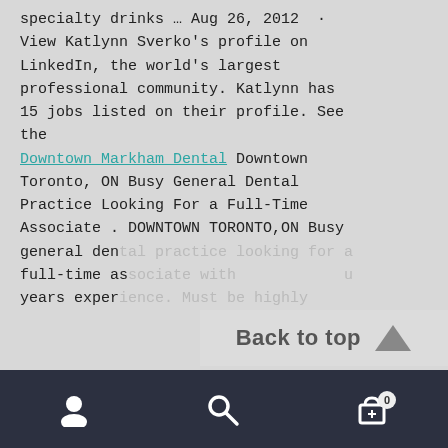specialty drinks … Aug 26, 2012 · View Katlynn Sverko's profile on LinkedIn, the world's largest professional community. Katlynn has 15 jobs listed on their profile. See the Downtown Markham Dental Downtown Toronto, ON Busy General Dental Practice Looking For a Full-Time Associate . DOWNTOWN TORONTO,ON Busy general dental practice looking for a full-time associate with years experience. Must be highly
Back to top ▲
[user icon] [search icon] [cart icon with badge 0]